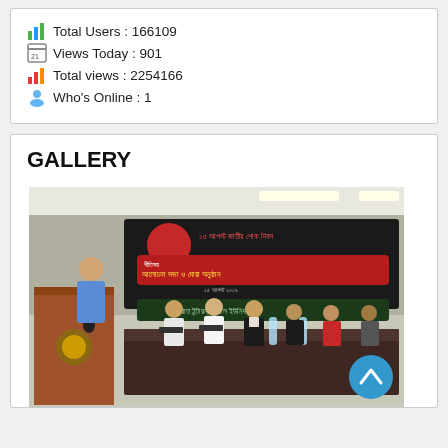Total Users : 166109
Views Today : 901
Total views : 2254166
Who's Online : 1
GALLERY
[Figure (photo): Meeting photo with a banner in Bengali text reading '15 August National Mourning Day - Discussion and Prayer Meeting' at Manarat International University. Several men are seated at a conference table, one man stands at a podium speaking into a microphone.]